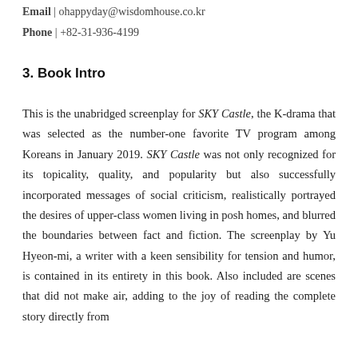Email | ohappyday@wisdomhouse.co.kr
Phone | +82-31-936-4199
3. Book Intro
This is the unabridged screenplay for SKY Castle, the K-drama that was selected as the number-one favorite TV program among Koreans in January 2019. SKY Castle was not only recognized for its topicality, quality, and popularity but also successfully incorporated messages of social criticism, realistically portrayed the desires of upper-class women living in posh homes, and blurred the boundaries between fact and fiction. The screenplay by Yu Hyeon-mi, a writer with a keen sensibility for tension and humor, is contained in its entirety in this book. Also included are scenes that did not make air, adding to the joy of reading the complete story directly from